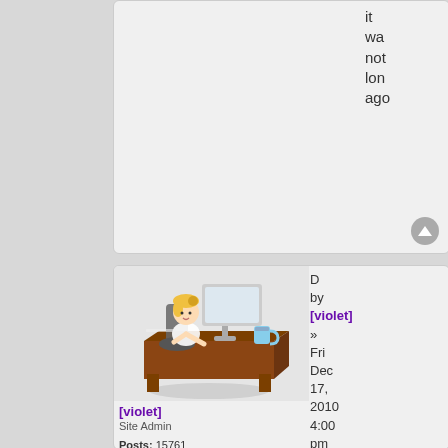it wa not lon ago
[Figure (illustration): 3D cartoon character of a blonde girl sitting at a brown wooden desk with a computer monitor]
[violet]
Site Admin

Posts: 15761
Founded: Antiquity
D
by
[violet]
»
Fri Dec 17, 2010 4:00 pm

No it wo affe Go Ca Jus the nu dis on